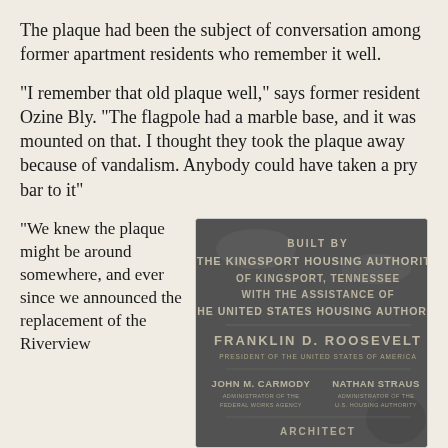The plaque had been the subject of conversation among former apartment residents who remember it well.
"I remember that old plaque well," says former resident Ozine Bly. "The flagpole had a marble base, and it was mounted on that. I thought they took the plaque away because of vandalism. Anybody could have taken a pry bar to it"
"We knew the plaque might be around somewhere, and ever since we announced the replacement of the Riverview
[Figure (photo): A weathered metal plaque reading: BUILT BY THE KINGSPORT HOUSING AUTHORITY OF KINGSPORT, TENNESSEE WITH THE ASSISTANCE OF THE UNITED STATES HOUSING AUTHORITY, FRANKLIN D. ROOSEVELT, PRESIDENT OF THE UNITED STATES OF AMERICA, JOHN M. CARMODY ADMINISTRATOR OF THE FEDERAL WORKS AGENCY, NATHAN STRAUS ADMINISTRATOR OF THE U.S. HOUSING AUTHORITY, ARCHITECT]